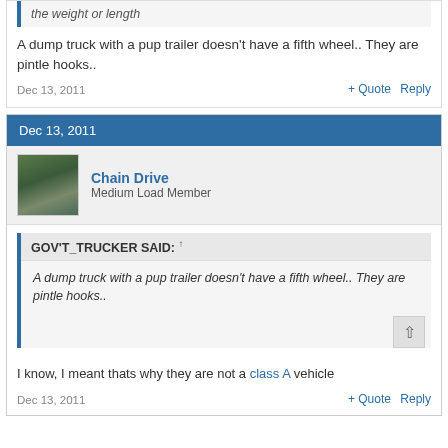the weight or length
A dump truck with a pup trailer doesn't have a fifth wheel.. They are pintle hooks..
Dec 13, 2011
+ Quote   Reply
Dec 13, 2011
Chain Drive
Medium Load Member
GOV'T_TRUCKER SAID: ↑
A dump truck with a pup trailer doesn't have a fifth wheel.. They are pintle hooks..
I know, I meant thats why they are not a class A vehicle
Dec 13, 2011
+ Quote   Reply